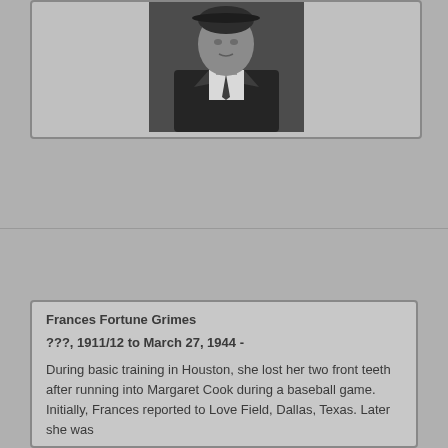[Figure (photo): Black and white photograph of a person wearing a dark jacket and tie, cropped at the shoulders, centered in a light gray card area]
Frances Fortune Grimes
???, 1911/12 to March 27, 1944 -
During basic training in Houston, she lost her two front teeth after running into Margaret Cook during a baseball game. Initially, Frances reported to Love Field, Dallas, Texas. Later she was